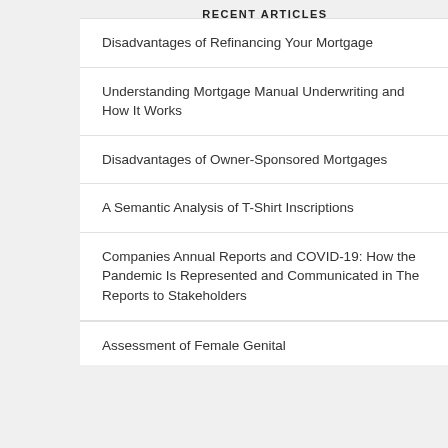RECENT ARTICLES
Disadvantages of Refinancing Your Mortgage
Understanding Mortgage Manual Underwriting and How It Works
Disadvantages of Owner-Sponsored Mortgages
A Semantic Analysis of T-Shirt Inscriptions
Companies Annual Reports and COVID-19: How the Pandemic Is Represented and Communicated in The Reports to Stakeholders
Assessment of Female Genital